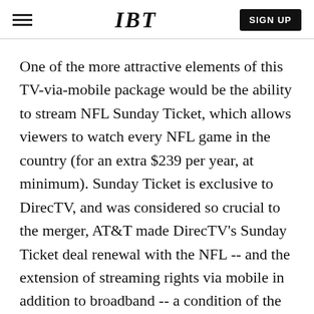IBT  SIGN UP
One of the more attractive elements of this TV-via-mobile package would be the ability to stream NFL Sunday Ticket, which allows viewers to watch every NFL game in the country (for an extra $239 per year, at minimum). Sunday Ticket is exclusive to DirecTV, and was considered so crucial to the merger, AT&T made DirecTV’s Sunday Ticket deal renewal with the NFL -- and the extension of streaming rights via mobile in addition to broadband -- a condition of the sale.